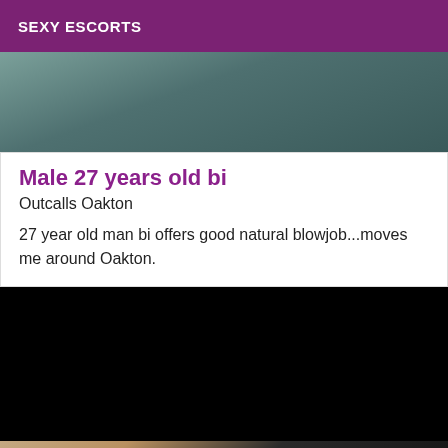SEXY ESCORTS
[Figure (photo): Partial view of a person wearing dark teal/grey textured fabric clothing]
Male 27 years old bi
Outcalls Oakton
27 year old man bi offers good natural blowjob...moves me around Oakton.
[Figure (photo): Black/dark photo, largely obscured]
[Figure (photo): Partial view of person wearing black lingerie straps]